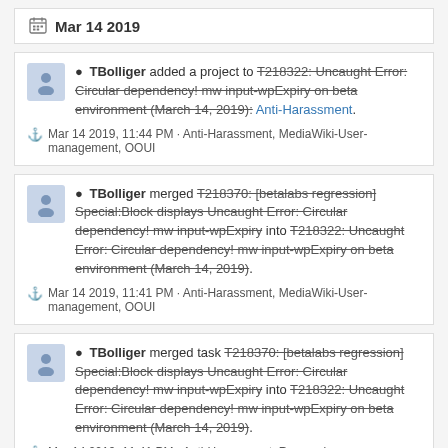Mar 14 2019
TBolliger added a project to T218322: Uncaught Error: Circular dependency! mw input-wpExpiry on beta environment (March 14, 2019): Anti-Harassment. Mar 14 2019, 11:44 PM · Anti-Harassment, MediaWiki-User-management, OOUI
TBolliger merged T218370: [betalabs regression] Special:Block displays Uncaught Error: Circular dependency! mw input-wpExpiry into T218322: Uncaught Error: Circular dependency! mw input-wpExpiry on beta environment (March 14, 2019). Mar 14 2019, 11:41 PM · Anti-Harassment, MediaWiki-User-management, OOUI
TBolliger merged task T218370: [betalabs regression] Special:Block displays Uncaught Error: Circular dependency! mw input-wpExpiry into T218322: Uncaught Error: Circular dependency! mw input-wpExpiry on beta environment (March 14, 2019). Mar 14 2019, 11:41 PM · Anti-Harassment, Regression